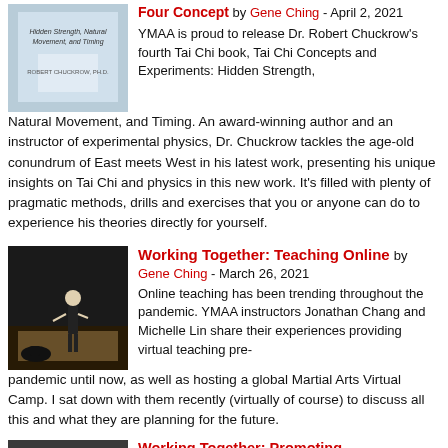Four Concept by Gene Ching - April 2, 2021
YMAA is proud to release Dr. Robert Chuckrow's fourth Tai Chi book, Tai Chi Concepts and Experiments: Hidden Strength, Natural Movement, and Timing. An award-winning author and an instructor of experimental physics, Dr. Chuckrow tackles the age-old conundrum of East meets West in his latest work, presenting his unique insights on Tai Chi and physics in this new work. It's filled with plenty of pragmatic methods, drills and exercises that you or anyone can do to experience his theories directly for yourself.
Working Together: Teaching Online by Gene Ching - March 26, 2021
Online teaching has been trending throughout the pandemic. YMAA instructors Jonathan Chang and Michelle Lin share their experiences providing virtual teaching pre-pandemic until now, as well as hosting a global Martial Arts Virtual Camp. I sat down with them recently (virtually of course) to discuss all this and what they are planning for the future.
Working Together: Promoting...